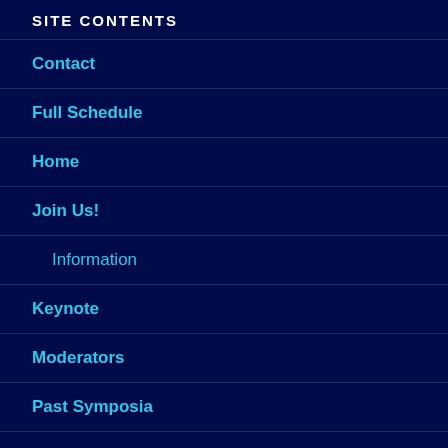SITE CONTENTS
Contact
Full Schedule
Home
Join Us!
Information
Keynote
Moderators
Past Symposia
2019
2020